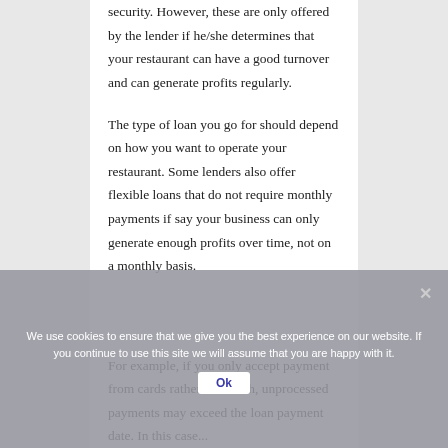security. However, these are only offered by the lender if he/she determines that your restaurant can have a good turnover and can generate profits regularly.
The type of loan you go for should depend on how you want to operate your restaurant. Some lenders also offer flexible loans that do not require monthly payments if say your business can only generate enough profits over time, not on a monthly basis.
For example, if you only accept payment from cards rather than cash, unprocessed payments may exceed the loan payment date. In this case, you may wish to...
We use cookies to ensure that we give you the best experience on our website. If you continue to use this site we will assume that you are happy with it.